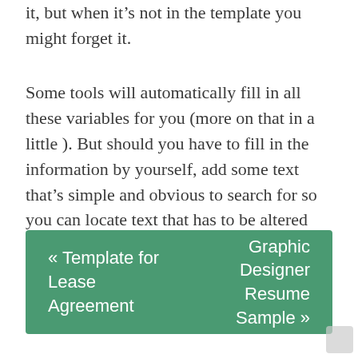it, but when it's not in the template you might forget it.
Some tools will automatically fill in all these variables for you (more on that in a little ). But should you have to fill in the information by yourself, add some text that's simple and obvious to search for so you can locate text that has to be altered without a lot of work.
« Template for Lease Agreement   Graphic Designer Resume Sample »